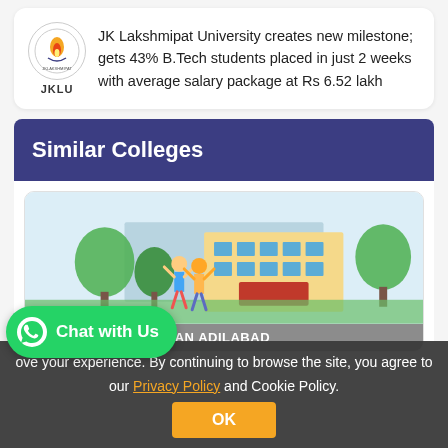JK Lakshmipat University creates new milestone; gets 43% B.Tech students placed in just 2 weeks with average salary package at Rs 6.52 lakh
Similar Colleges
[Figure (illustration): Illustration of a college campus building with trees and two students celebrating in front]
ADVAIT VIDYA NIKETAN ADILABAD
ove your experience. By continuing to browse the site, you agree to our Privacy Policy and Cookie Policy. OK